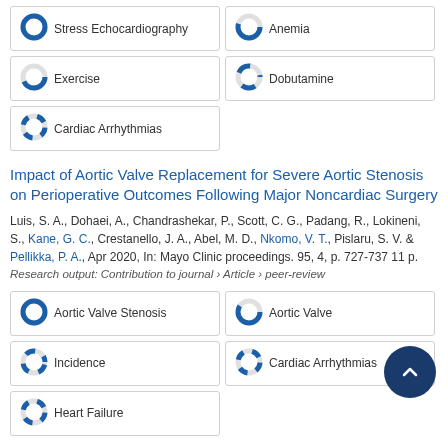Stress Echocardiography
Anemia
Exercise
Dobutamine
Cardiac Arrhythmias
Impact of Aortic Valve Replacement for Severe Aortic Stenosis on Perioperative Outcomes Following Major Noncardiac Surgery
Luis, S. A., Dohaei, A., Chandrashekar, P., Scott, C. G., Padang, R., Lokineni, S., Kane, G. C., Crestanello, J. A., Abel, M. D., Nkomo, V. T., Pislaru, S. V. & Pellikka, P. A., Apr 2020, In: Mayo Clinic proceedings. 95, 4, p. 727-737 11 p.
Research output: Contribution to journal › Article › peer-review
Aortic Valve Stenosis
Aortic Valve
Incidence
Cardiac Arrhythmias
Heart Failure